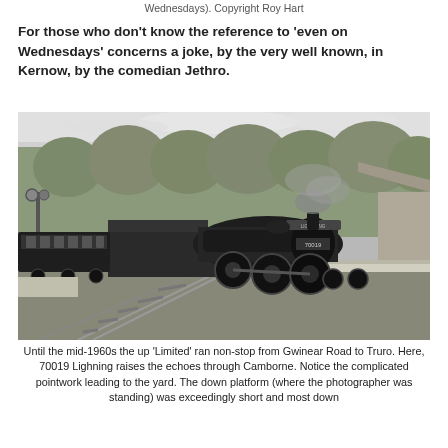Wednesdays). Copyright Roy Hart
For those who don't know the reference to 'even on Wednesdays' concerns a joke, by the very well known, in Kernow, by the comedian Jethro.
[Figure (photo): Black and white photograph of steam locomotive 70019 'Lightning' pulling a passenger train through Camborne station. The locomotive faces the camera, with a long line of carriages trailing behind it on the left. Signal posts are visible on the left side, trees in the background, and a platform on the right. Railway tracks, pointwork, and a station building are visible.]
Until the mid-1960s the up 'Limited' ran non-stop from Gwinear Road to Truro. Here, 70019 Lighning raises the echoes through Camborne. Notice the complicated pointwork leading to the yard. The down platform (where the photographer was standing) was exceedingly short and most down